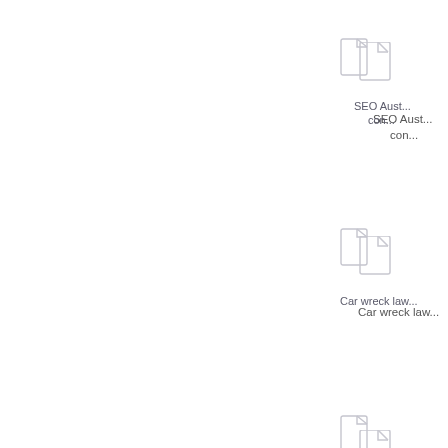[Figure (illustration): Document file icon]
SEO Aust... con...
[Figure (illustration): Document file icon]
Car wreck law...
[Figure (illustration): Document file icon]
PPC Mana...
[Figure (illustration): Document file icon]
Have you p...
[Figure (illustration): Document file icon]
W...
PPC Manage...
[Figure (illustration): Document file icon]